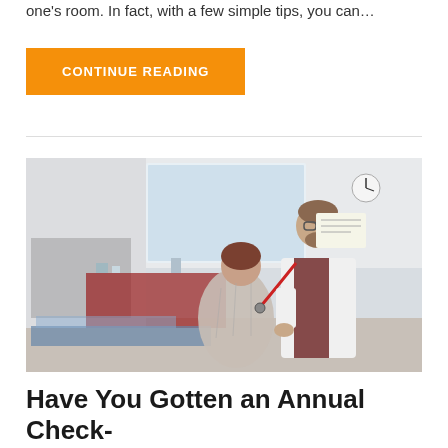one's room. In fact, with a few simple tips, you can…
CONTINUE READING
[Figure (photo): A doctor in a white coat using a stethoscope to examine a seated patient wearing a hospital gown, in a medical examination room.]
Have You Gotten an Annual Check-